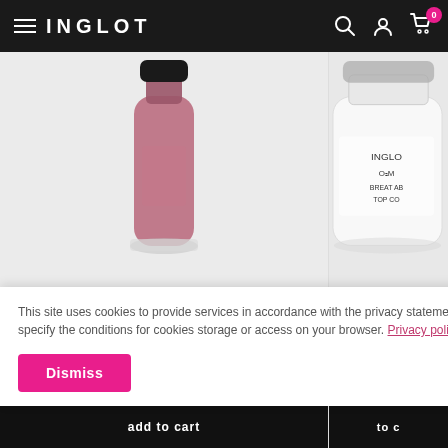INGLOT
[Figure (photo): Bottle of INGLOT O2M Breathable Nail Enamel, mauve/pink color, partially cropped at top]
[Figure (photo): Bottle of INGLOT O2M Breathable Top Coat, white/clear, partially cropped at right]
O2M Breathable Nail Enamel
O2M Breathable Top C
+61
€13.00
This site uses cookies to provide services in accordance with the privacy statement. You can specify the conditions for cookies storage or access on your browser. Privacy policy
Dismiss